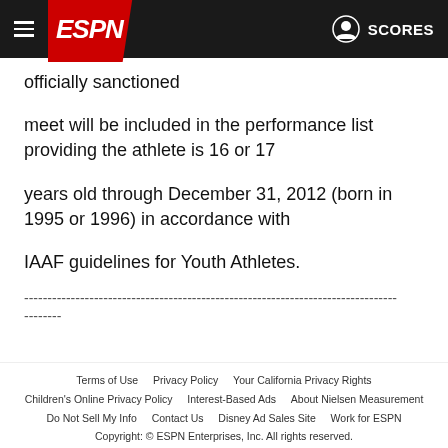ESPN — SCORES
officially sanctioned
meet will be included in the performance list providing the athlete is 16 or 17
years old through December 31, 2012 (born in 1995 or 1996) in accordance with
IAAF guidelines for Youth Athletes.
--------------------------------------------------------------------------------
--------
Terms of Use   Privacy Policy   Your California Privacy Rights   Children's Online Privacy Policy   Interest-Based Ads   About Nielsen Measurement   Do Not Sell My Info   Contact Us   Disney Ad Sales Site   Work for ESPN   Copyright: © ESPN Enterprises, Inc. All rights reserved.